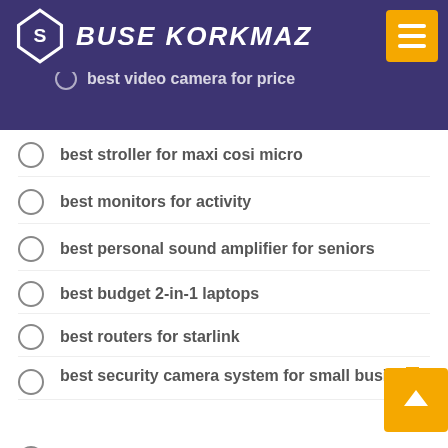BUSE KORKMAZ
best display monitor for video editing
best video camera for price
best stroller for maxi cosi micro
best monitors for activity
best personal sound amplifier for seniors
best budget 2-in-1 laptops
best routers for starlink
best security camera system for small business
best wireless earbuds crazybaby
best apple laptops for high school
best wireless earbuds in india